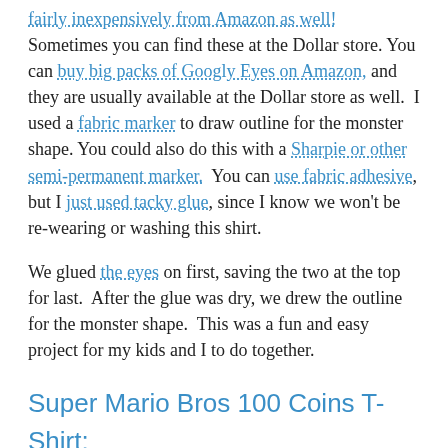fairly inexpensively from Amazon as well! Sometimes you can find these at the Dollar store. You can buy big packs of Googly Eyes on Amazon, and they are usually available at the Dollar store as well. I used a fabric marker to draw outline for the monster shape. You could also do this with a Sharpie or other semi-permanent marker. You can use fabric adhesive, but I just used tacky glue, since I know we won't be re-wearing or washing this shirt.
We glued the eyes on first, saving the two at the top for last. After the glue was dry, we drew the outline for the monster shape. This was a fun and easy project for my kids and I to do together.
Super Mario Bros 100 Coins T-Shirt:
[Figure (photo): Partial image of a Super Mario Bros themed T-shirt showing gold coin motifs on a dark navy background, partially visible at bottom of page.]